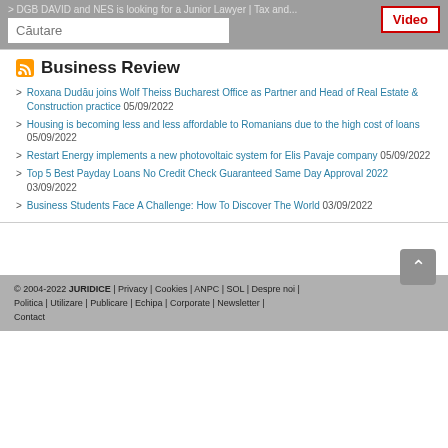DGB DAVID and NES is looking for a Junior Lawyer | Tax and...
Business Review
Roxana Dudău joins Wolf Theiss Bucharest Office as Partner and Head of Real Estate & Construction practice 05/09/2022
Housing is becoming less and less affordable to Romanians due to the high cost of loans 05/09/2022
Restart Energy implements a new photovoltaic system for Elis Pavaje company 05/09/2022
Top 5 Best Payday Loans No Credit Check Guaranteed Same Day Approval 2022 03/09/2022
Business Students Face A Challenge: How To Discover The World 03/09/2022
© 2004-2022 JURIDICE | Privacy | Cookies | ANPC | SOL | Despre noi | Politica | Utilizare | Publicare | Echipa | Corporate | Newsletter | Contact